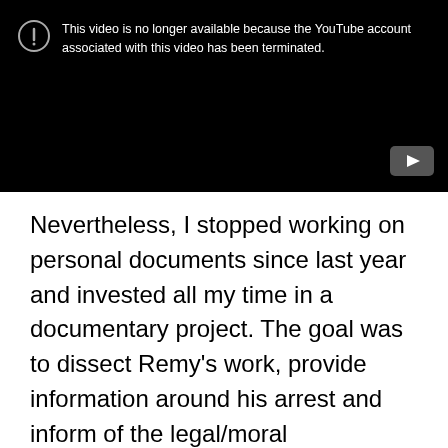[Figure (screenshot): YouTube video unavailable screen showing error icon and message: 'This video is no longer available because the YouTube account associated with this video has been terminated.' with YouTube play button logo in bottom right corner.]
Nevertheless, I stopped working on personal documents since last year and invested all my time in a documentary project. The goal was to dissect Remy's work, provide information around his arrest and inform of the legal/moral implications. It was a grueling task. Having no funds nor time, I took care of the camera work, the interviews, the planning, the editing, the credit card and most if not everything else. I still had the support of a lot of people and I thank them for this.